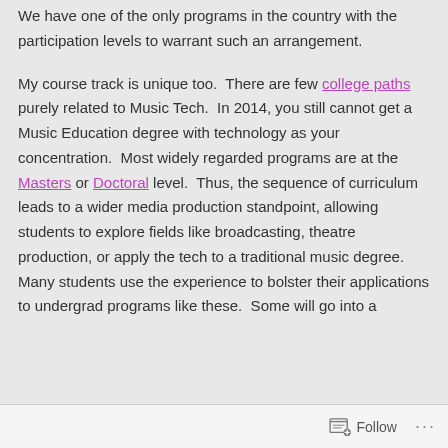We have one of the only programs in the country with the participation levels to warrant such an arrangement.
My course track is unique too.  There are few college paths purely related to Music Tech.  In 2014, you still cannot get a Music Education degree with technology as your concentration.  Most widely regarded programs are at the Masters or Doctoral level.  Thus, the sequence of curriculum leads to a wider media production standpoint, allowing students to explore fields like broadcasting, theatre production, or apply the tech to a traditional music degree.  Many students use the experience to bolster their applications to undergrad programs like these.  Some will go into a
Follow ...